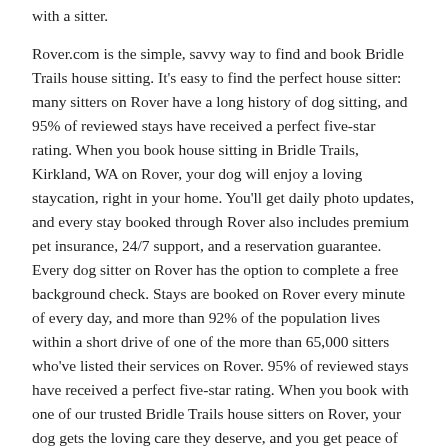with a sitter.
Rover.com is the simple, savvy way to find and book Bridle Trails house sitting. It's easy to find the perfect house sitter: many sitters on Rover have a long history of dog sitting, and 95% of reviewed stays have received a perfect five-star rating. When you book house sitting in Bridle Trails, Kirkland, WA on Rover, your dog will enjoy a loving staycation, right in your home. You'll get daily photo updates, and every stay booked through Rover also includes premium pet insurance, 24/7 support, and a reservation guarantee. Every dog sitter on Rover has the option to complete a free background check. Stays are booked on Rover every minute of every day, and more than 92% of the population lives within a short drive of one of the more than 65,000 sitters who've listed their services on Rover. 95% of reviewed stays have received a perfect five-star rating. When you book with one of our trusted Bridle Trails house sitters on Rover, your dog gets the loving care they deserve, and you get peace of mind.
A Daily Treat: A Blog by Rover
Rover's got you covered, even when you don't need a pet sitter or dog walker. Check out our blog for pictures of adorable dogs, help on your biggest dog-related questions, and more: